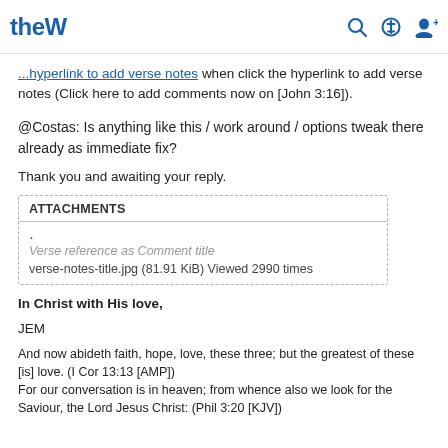theW [logo] [search icon] [power icon] [user icon]
... hyperlink to add verse notes (Click here to add comments now on [John 3:16]).
@Costas: Is anything like this / work around / options tweak there already as immediate fix?
Thank you and awaiting your reply.
| ATTACHMENTS |
| --- |
| . | Verse reference as Comment title | verse-notes-title.jpg (81.91 KiB) Viewed 2990 times |
In Christ with His love,
JEM
And now abideth faith, hope, love, these three; but the greatest of these [is] love. (I Cor 13:13 [AMP])
For our conversation is in heaven; from whence also we look for the Saviour, the Lord Jesus Christ: (Phil 3:20 [KJV])